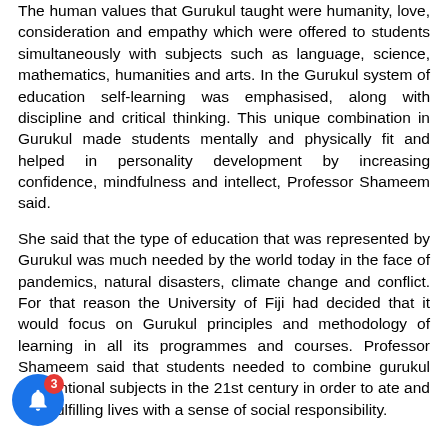The human values that Gurukul taught were humanity, love, consideration and empathy which were offered to students simultaneously with subjects such as language, science, mathematics, humanities and arts. In the Gurukul system of education self-learning was emphasised, along with discipline and critical thinking. This unique combination in Gurukul made students mentally and physically fit and helped in personality development by increasing confidence, mindfulness and intellect, Professor Shameem said.
She said that the type of education that was represented by Gurukul was much needed by the world today in the face of pandemics, natural disasters, climate change and conflict. For that reason the University of Fiji had decided that it would focus on Gurukul principles and methodology of learning in all its programmes and courses. Professor Shameem said that students needed to combine gurukul conventional subjects in the 21st century in order to ate and lead fulfilling lives with a sense of social responsibility.